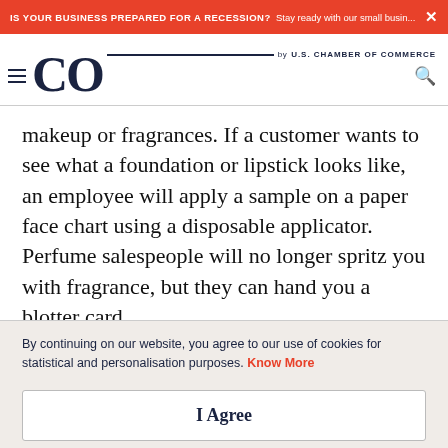IS YOUR BUSINESS PREPARED FOR A RECESSION? Stay ready with our small busin... ×
CO by U.S. CHAMBER OF COMMERCE
makeup or fragrances. If a customer wants to see what a foundation or lipstick looks like, an employee will apply a sample on a paper face chart using a disposable applicator. Perfume salespeople will no longer spritz you with fragrance, but they can hand you a blotter card
By continuing on our website, you agree to our use of cookies for statistical and personalisation purposes. Know More
I Agree